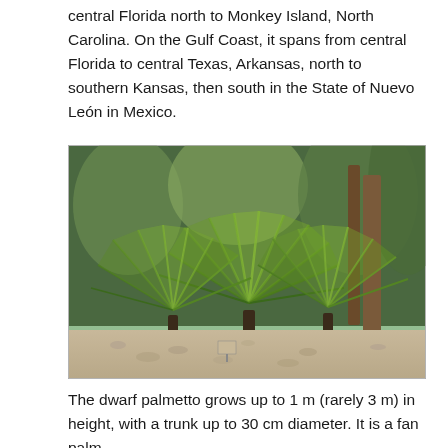central Florida north to Monkey Island, North Carolina. On the Gulf Coast, it spans from central Florida to central Texas, Arkansas, north to southern Kansas, then south in the State of Nuevo León in Mexico.
[Figure (photo): Photograph of dwarf palmetto fan palms growing in a garden setting with gravel ground cover and taller palms in the background.]
The dwarf palmetto grows up to 1 m (rarely 3 m) in height, with a trunk up to 30 cm diameter. It is a fan palm